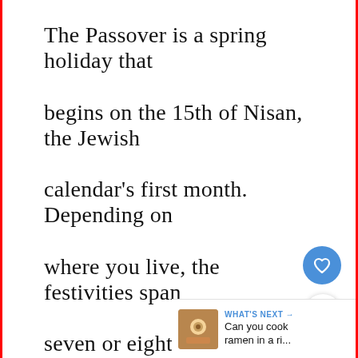The Passover is a spring holiday that begins on the 15th of Nisan, the Jewish calendar's first month. Depending on where you live, the festivities span seven or eight days. In 2022, Passover will begin on April 15th.